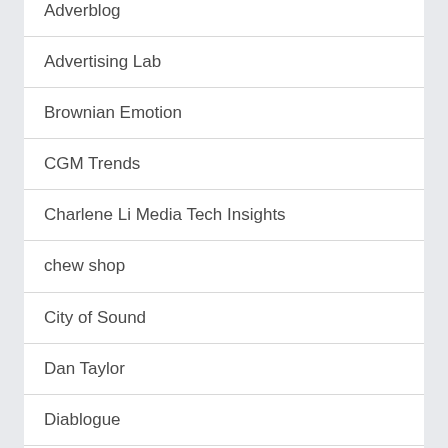Adverblog
Advertising Lab
Brownian Emotion
CGM Trends
Charlene Li Media Tech Insights
chew shop
City of Sound
Dan Taylor
Diablogue
Digital Underwear